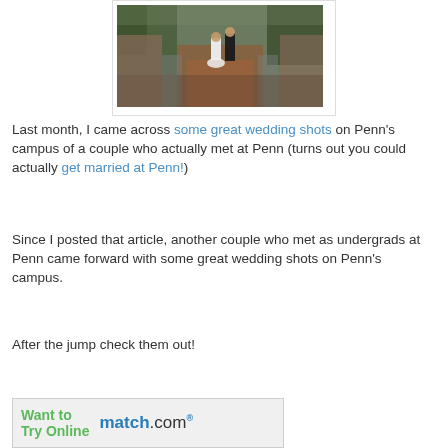[Figure (photo): A couple walking down a brick path on Penn's campus, surrounded by trees and brick buildings. The person on the left wears a white wedding dress, the person on the right wears a dark suit.]
Last month, I came across some great wedding shots on Penn's campus of a couple who actually met at Penn (turns out you could actually get married at Penn!)
Since I posted that article, another couple who met as undergrads at Penn came forward with some great wedding shots on Penn's campus.
After the jump check them out!
[Figure (other): Advertisement for match.com. Left side shows green bold text 'Want to Try Online' and right side shows match.com logo in blue.]